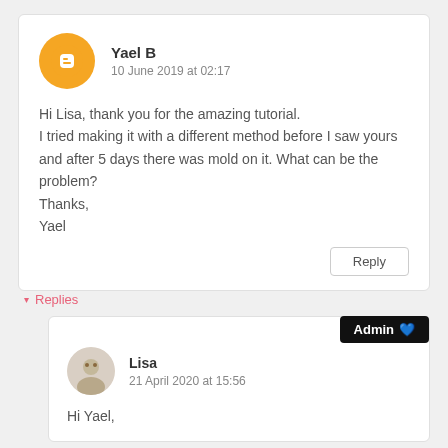Yael B
10 June 2019 at 02:17
Hi Lisa, thank you for the amazing tutorial.
I tried making it with a different method before I saw yours and after 5 days there was mold on it. What can be the problem?
Thanks,
Yael
Reply
▾ Replies
Admin 💙
Lisa
21 April 2020 at 15:56
Hi Yael,